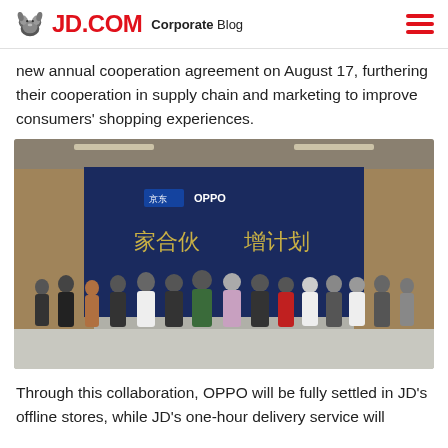JD.COM Corporate Blog
new annual cooperation agreement on August 17, furthering their cooperation in supply chain and marketing to improve consumers' shopping experiences.
[Figure (photo): Group photo of approximately 14 people standing in front of a blue backdrop with JD.com and OPPO logos, giving thumbs up, in an indoor venue.]
Through this collaboration, OPPO will be fully settled in JD's offline stores, while JD's one-hour delivery service will